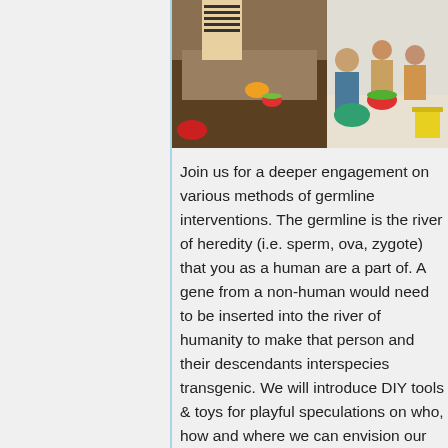[Figure (photo): Two photos side by side: left shows people working at a table with food/watermelon items in what appears to be a workshop setting; right shows a group of people sitting together in a room, also with watermelon visible.]
Join us for a deeper engagement on various methods of germline interventions. The germline is the river of heredity (i.e. sperm, ova, zygote) that you as a human are a part of. A gene from a non-human would need to be inserted into the river of humanity to make that person and their descendants interspecies transgenic. We will introduce DIY tools & toys for playful speculations on who, how and where we can envision our future offspring human /non-human watermelon inheritable post-species palettes. Through a collaborative